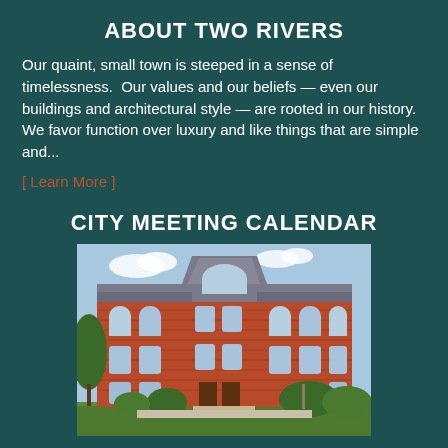ABOUT TWO RIVERS
Our quaint, small town is steeped in a sense of timelessness.  Our values and our beliefs — even our buildings and architectural style — are rooted in our history.  We favor function over luxury and like things that are simple and...
[ Learn More ]
CITY MEETING CALENDAR
[Figure (photo): A red-brick multi-story building with arched windows and green shrubbery in front, photographed on a sunny day.]